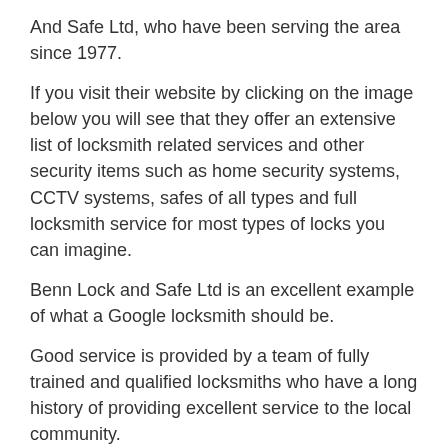And Safe Ltd, who have been serving the area since 1977.
If you visit their website by clicking on the image below you will see that they offer an extensive list of locksmith related services and other security items such as home security systems, CCTV systems, safes of all types and full locksmith service for most types of locks you can imagine.
Benn Lock and Safe Ltd is an excellent example of what a Google locksmith should be.
Good service is provided by a team of fully trained and qualified locksmiths who have a long history of providing excellent service to the local community.
Benn Lock and Safe Ltd are proud to offer professional locksmith services in Peterborough
March, Corby, Oakham, Uppingham, Thrapston, St Neots, Oundle, Stamford, Chatteris, Ely, Wisbeach, Holbeach, Spalding, Bourne, Baston, Crowland, The